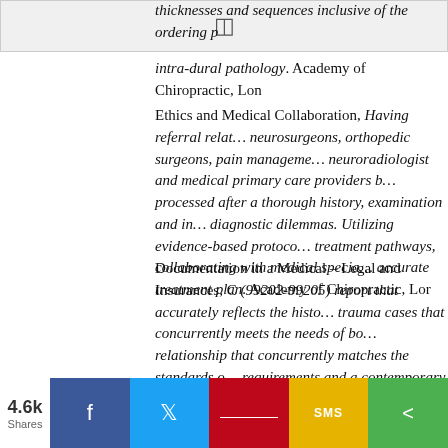[Figure (screenshot): Browser toolbar with monitor icon]
thicknesses and sequences inclusive of the ordering p… intra-dural pathology. Academy of Chiropractic, Long I…
Ethics and Medical Collaboration, Having referral relat… neurosurgeons, orthopedic surgeons, pain manageme… neuroradiologist and medical primary care providers b… processed after a thorough history, examination and in… diagnostic dilemmas. Utilizing evidence-based protoco… treatment pathways, collaborating with medical specia… accurate treatment plan. Academy of Chiropractic, Lor…
Documentation in a Medical – Legal and Insurances, C… (99202-99205) report that accurately reflects the histo… trauma cases that concurrently meets the needs of bo… relationship that concurrently matches the standards o… requirements and a contemporary literature-based sta… Island, New York, 2019
[Figure (infographic): Social sharing bar with 4.6k Shares, Facebook, Twitter, Pinterest, SMS, and Share buttons]